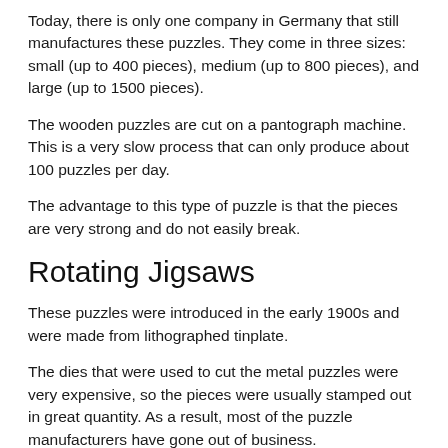Today, there is only one company in Germany that still manufactures these puzzles. They come in three sizes: small (up to 400 pieces), medium (up to 800 pieces), and large (up to 1500 pieces).
The wooden puzzles are cut on a pantograph machine. This is a very slow process that can only produce about 100 puzzles per day.
The advantage to this type of puzzle is that the pieces are very strong and do not easily break.
Rotating Jigsaws
These puzzles were introduced in the early 1900s and were made from lithographed tinplate.
The dies that were used to cut the metal puzzles were very expensive, so the pieces were usually stamped out in great quantity. As a result, most of the puzzle manufacturers have gone out of business.